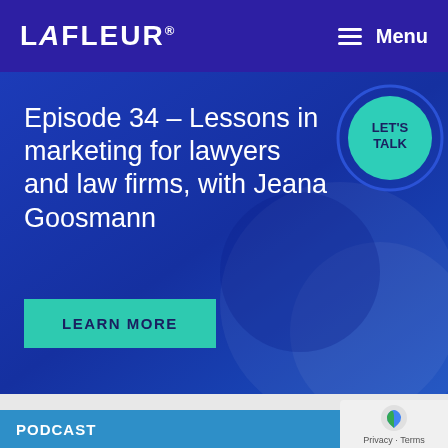LAFLEUR® Menu
Episode 34 – Lessons in marketing for lawyers and law firms, with Jeana Goosmann
[Figure (screenshot): LET'S TALK circular button with teal background and blue ring]
LEARN MORE
PODCAST
[Figure (logo): Google reCAPTCHA privacy badge with Privacy · Terms text]